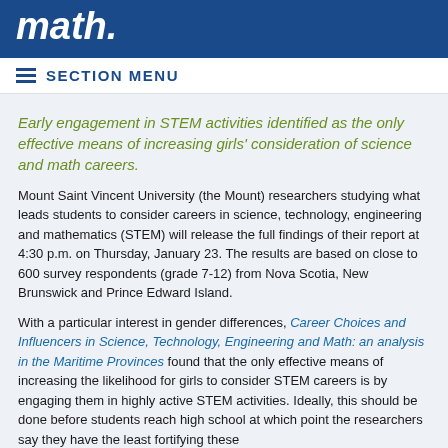math.
SECTION MENU
Early engagement in STEM activities identified as the only effective means of increasing girls' consideration of science and math careers.
Mount Saint Vincent University (the Mount) researchers studying what leads students to consider careers in science, technology, engineering and mathematics (STEM) will release the full findings of their report at 4:30 p.m. on Thursday, January 23. The results are based on close to 600 survey respondents (grade 7-12) from Nova Scotia, New Brunswick and Prince Edward Island.
With a particular interest in gender differences, Career Choices and Influencers in Science, Technology, Engineering and Math: an analysis in the Maritime Provinces found that the only effective means of increasing the likelihood for girls to consider STEM careers is by engaging them in highly active STEM activities. Ideally, this should be done before students reach high school at which point the researchers say they have the least fortifying these